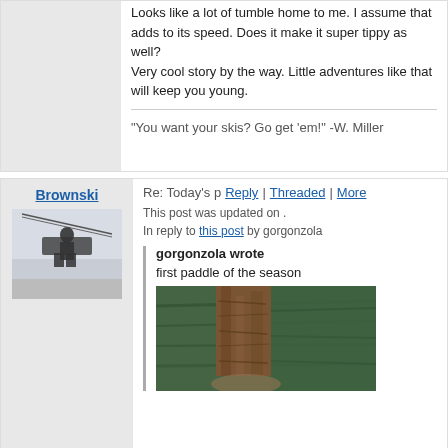Looks like a lot of tumble home to me. I assume that adds to its speed. Does it make it super tippy as well?
Very cool story by the way. Little adventures like that will keep you young.
"You want your skis? Go get 'em!" -W. Miller
Brownski
Re: Today's p  Reply | Threaded | More
This post was updated on .
In reply to this post by gorgonzola
gorgonzola wrote
first paddle of the season
[Figure (photo): Silhouette of person on a ski lift chair against light background]
[Figure (photo): Outdoor nature scene with tree bark and green water/background]